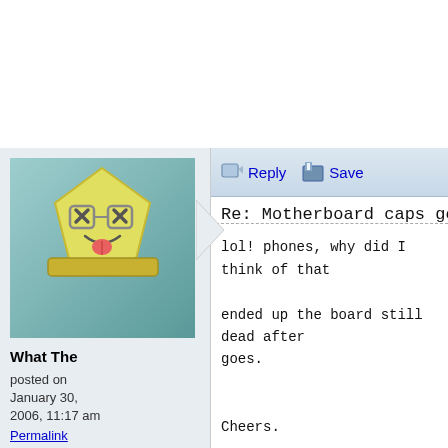[Figure (illustration): Forum post avatar: cartoon character with x-eyes and tongue sticking out on a teal/green background, shaped like a star/pentagon]
What The
posted on January 30, 2006, 11:17 am
Permalink
Reply   Save
Re: Motherboard caps gone pop
lol! phones, why did I think of that
ended up the board still dead after goes.
Cheers.